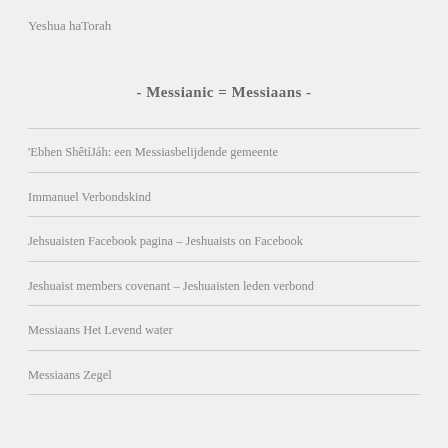Yeshua haTorah
- Messianic = Messiaans -
'Ebhen ShêtíJáh: een Messiasbelijdende gemeente
Immanuel Verbondskind
Jehsuaisten Facebook pagina – Jeshuaists on Facebook
Jeshuaist members covenant – Jeshuaisten leden verbond
Messiaans Het Levend water
Messiaans Zegel